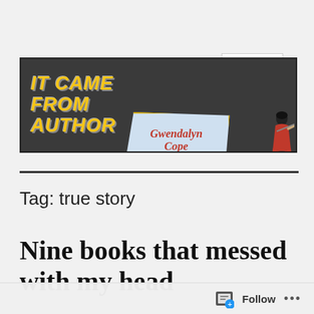MENU
[Figure (illustration): Blog banner for 'It Came From Author' website by Gwendalyn Cope (gwendalyncope.com). Dark gray background with bold yellow italic text 'IT CAME FROM AUTHOR' on the left, and a light blue trapezoid sign reading 'Gwendalyn Cope gwendalyncope.com' in the center-right, with an illustrated woman figure holding the sign on the far right.]
Tag: true story
Nine books that messed with my head